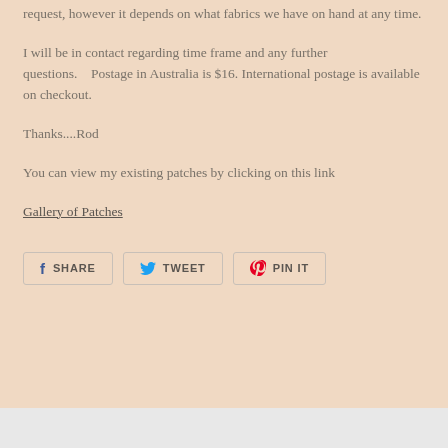request, however it depends on what fabrics we have on hand at any time.
I will be in contact regarding time frame and any further questions.    Postage in Australia is $16.  International postage is available on checkout.
Thanks....Rod
You can view my existing patches by clicking on this link
Gallery of Patches